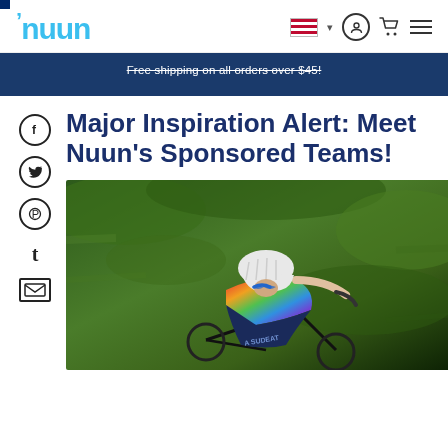nuun — navigation bar with logo, flag/language selector, account icon, cart icon, menu icon
Free shipping on all orders over $45!
Major Inspiration Alert: Meet Nuun's Sponsored Teams!
[Figure (photo): A cyclist wearing a white helmet and colorful rainbow jersey leaning forward on a bike, blurred green foliage background. Jersey reads 'A SUDEAT' at bottom.]